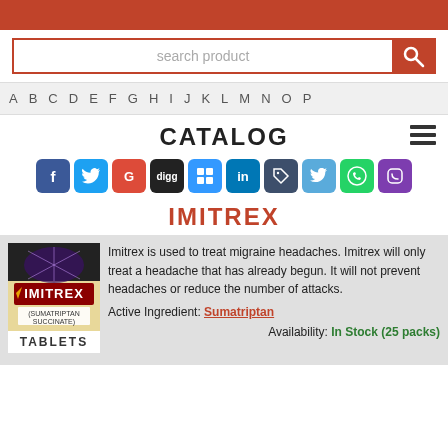[Figure (screenshot): Search product input box with orange search button and magnifying glass icon]
A  B  C  D  E  F  G  H  I  J  K  L  M  N  O  P
CATALOG
[Figure (other): Social media share icons row: Facebook, Twitter, Google+, Digg, Delicious, LinkedIn, tag icon, bird icon, WhatsApp, Viber]
IMITREX
[Figure (photo): Imitrex (Sumatriptan Succinate) Tablets product box image]
Imitrex is used to treat migraine headaches. Imitrex will only treat a headache that has already begun. It will not prevent headaches or reduce the number of attacks.
Active Ingredient: Sumatriptan
Availability: In Stock (25 packs)